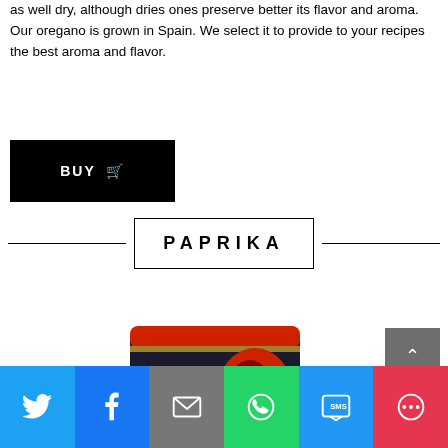as well dry, although dries ones preserve better its flavor and aroma.
Our oregano is grown in Spain. We select it to provide to your recipes the best aroma and flavor.
BUY
PAPRIKA
[Figure (photo): Sweet Paprika from Spain product tin can (LAYBÉ brand) with red lid and black label showing sweet paprika imagery]
[Figure (other): Grey scroll-to-top button with upward arrow]